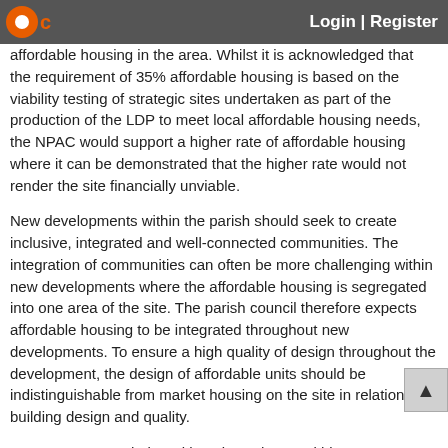Login | Register
affordable housing in the area. Whilst it is acknowledged that the requirement of 35% affordable housing is based on the viability testing of strategic sites undertaken as part of the production of the LDP to meet local affordable housing needs, the NPAC would support a higher rate of affordable housing where it can be demonstrated that the higher rate would not render the site financially unviable.
New developments within the parish should seek to create inclusive, integrated and well-connected communities. The integration of communities can often be more challenging within new developments where the affordable housing is segregated into one area of the site. The parish council therefore expects affordable housing to be integrated throughout new developments. To ensure a high quality of design throughout the development, the design of affordable units should be indistinguishable from market housing on the site in relation to building design and quality.
BBC manages a sheltered housing scheme within Ingatestone which in total comprises 67 dwellings, including a main building with 10 bedsits and four one bedroom flats, a mixture of bungalows one bedroom flats on Stock Lane and Wadham Close and Steel Close bungalows off of Fryerning Lane. Ingleton House is part of the sheltered housing scheme located on Stock Lane, and has...